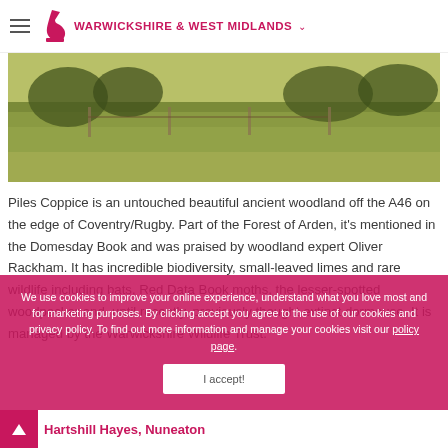WARWICKSHIRE & WEST MIDLANDS
[Figure (photo): Outdoor meadow/grassland scene showing grassy field with trees and fence posts in the background, natural landscape of Piles Coppice woodland area]
Piles Coppice is an untouched beautiful ancient woodland off the A46 on the edge of Coventry/Rugby. Part of the Forest of Arden, it's mentioned in the Domesday Book and was praised by woodland expert Oliver Rackham. It has incredible biodiversity, small-leaved limes and rare wildlife including bats, Red Data Book moths, the lesser-spotted woodpecker and, until recently, previously thought extinct dormouse, It is managed by the Warwickshire Wildlife Trust.
We use cookies to improve your online experience, understand what you love most and for marketing purposes. By clicking accept you agree to the use of our cookies and privacy policy. To find out more information and manage your cookies visit our policy page.
Hartshill Hayes, Nuneaton